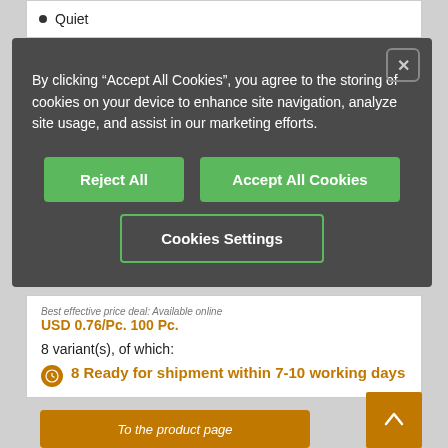Quiet
By clicking “Accept All Cookies”, you agree to the storing of cookies on your device to enhance site navigation, analyze site usage, and assist in our marketing efforts.
Reject All
Accept All Cookies
Cookies Settings
Best effective price deal: Available online
USD 0.76/Pc. 100 Pc.
8 variant(s), of which:
8 Ready for shipment within 7-10 working days
To the product page